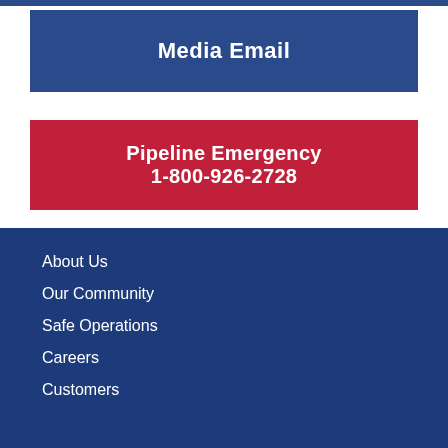Media Email
Pipeline Emergency
1-800-926-2728
About Us
Our Community
Safe Operations
Careers
Customers